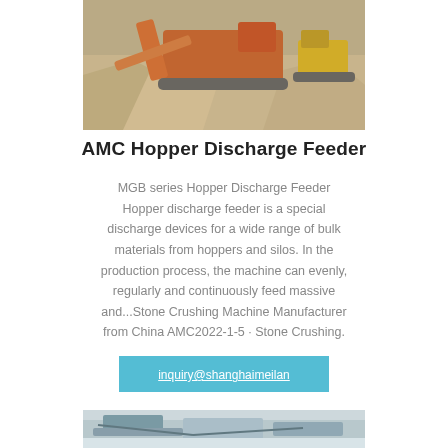[Figure (photo): Photograph of an orange AMC hopper discharge feeder machine operating at a stone crushing site, surrounded by gravel and sand piles.]
AMC Hopper Discharge Feeder
MGB series Hopper Discharge Feeder Hopper discharge feeder is a special discharge devices for a wide range of bulk materials from hoppers and silos. In the production process, the machine can evenly, regularly and continuously feed massive and...Stone Crushing Machine Manufacturer from China AMC2022-1-5 · Stone Crushing.
inquiry@shanghaimeilan
[Figure (photo): Photograph of machinery at a stone crushing facility, partially visible at the bottom of the page.]